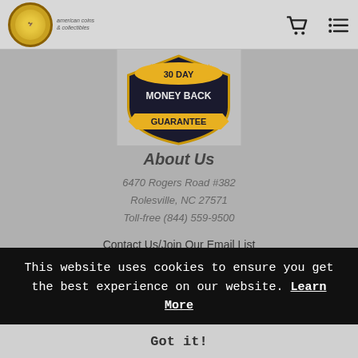Header with logo, cart icon, and menu icon
[Figure (illustration): 30 Day Money Back Guarantee badge/shield in gold and dark colors]
About Us
6470 Rogers Road #382
Rolesville, NC 27571
Toll-free (844) 559-9500
Contact Us/Join Our Email List
2022 Copyright/Legal
Privacy Policy/ GDPR Policy
Link To Us
This website uses cookies to ensure you get the best experience on our website. Learn More
Got it!